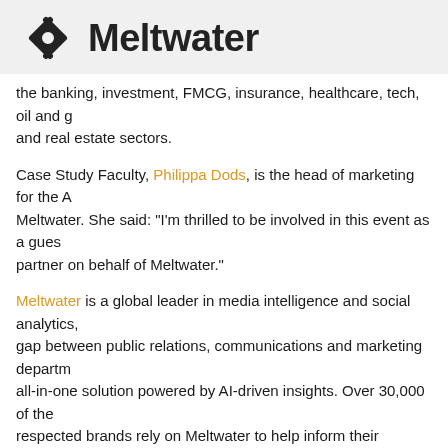Meltwater
the banking, investment, FMCG, insurance, healthcare, tech, oil and g and real estate sectors.
Case Study Faculty, Philippa Dods, is the head of marketing for the A Meltwater. She said: "I'm thrilled to be involved in this event as a gue partner on behalf of Meltwater."
Meltwater is a global leader in media intelligence and social analytics, gap between public relations, communications and marketing departm all-in-one solution powered by AI-driven insights. Over 30,000 of the respected brands rely on Meltwater to help inform their strategic decis over 55 offices across six continents, Meltwater is a truly global partn
The Reverse Mentorship Workshop is an initiative of Nigeria Women
Nigerian Women in Public Relations (NGWiPR), established in 2019,